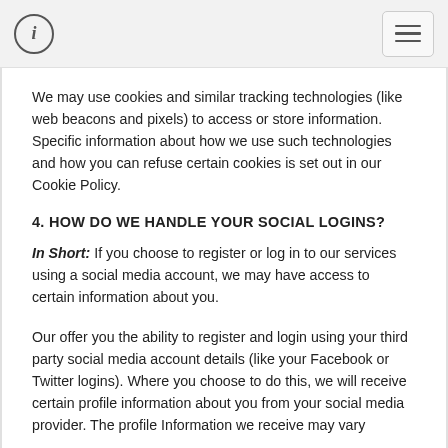ℹ [info icon] [menu icon]
We may use cookies and similar tracking technologies (like web beacons and pixels) to access or store information. Specific information about how we use such technologies and how you can refuse certain cookies is set out in our Cookie Policy.
4. HOW DO WE HANDLE YOUR SOCIAL LOGINS?
In Short: If you choose to register or log in to our services using a social media account, we may have access to certain information about you.
Our offer you the ability to register and login using your third party social media account details (like your Facebook or Twitter logins). Where you choose to do this, we will receive certain profile information about you from your social media provider. The profile Information we receive may vary